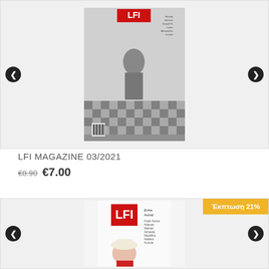[Figure (photo): LFI Magazine 03/2021 cover shown in a product carousel with left and right navigation arrows. Black and white photo of a young boy on cover.]
LFI MAGAZINE 03/2021
€8.90 €7.00
[Figure (photo): Second LFI Magazine product card with Έκπτωση 21% (21% discount) badge in top right. Color magazine cover visible with LFI logo in red.]